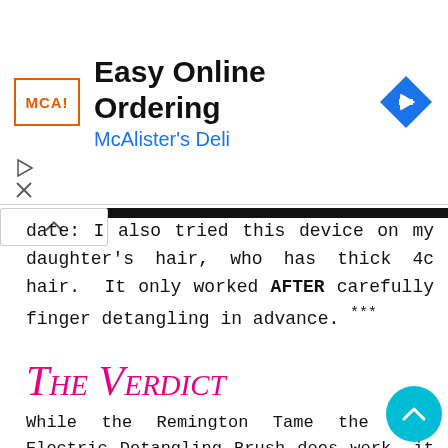[Figure (other): Advertisement banner for McAlister's Deli featuring logo, text 'Easy Online Ordering', 'McAlister's Deli', and a blue navigation diamond icon. Includes play and close controls.]
date: I also tried this device on my daughter's hair, who has thick 4c hair. It only worked AFTER carefully finger detangling in advance. ***
The Verdict
While the Remington Tame the Mane Electric Detangling Brush does work, it will not be completely pain free. The process took entirely too long, but I could see myself using this as a way to tackle the most stubborn kinks and for light detangling. It definitely hurts less than using other methods. I do recommend this product but with